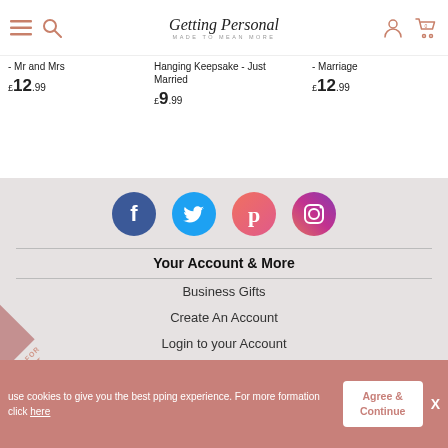Getting Personal — MADE TO MEAN MORE
- Mr and Mrs £12.99
Hanging Keepsake - Just Married £9.99
- Marriage £12.99
[Figure (logo): Facebook, Twitter, Pinterest, Instagram social icons]
Your Account & More
Business Gifts
Create An Account
Login to your Account
Need Some Help
use cookies to give you the best pping experience. For more formation click here